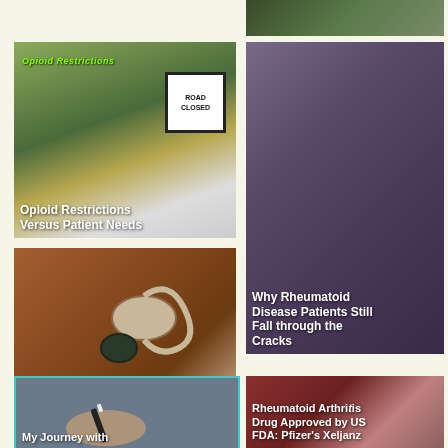[Figure (photo): Partial view of a photo at top right, partially cropped]
[Figure (photo): Street scene with road closed sign, overlaid with green italic text 'Opioid Restrictions' and white bold text 'Opioid Restrictions Versus Patient Needs']
Opioid Restrictions Versus Patient Needs
[Figure (photo): Wet wooden planks or decking surface, overlaid with white bold text 'Why Rheumatoid Disease Patients Still Fall through the Cracks']
Why Rheumatoid Disease Patients Still Fall through the Cracks
[Figure (photo): Hearing aid device on a wooden surface with a dark object, overlaid with white bold text 'Putting Faith in Rheumatoid Arthritis Natural Remedies']
Putting Faith in Rheumatoid Arthritis Natural Remedies
[Figure (photo): Person's hand with a pen on a surface, teal border, overlaid with white bold text 'My Journey with']
My Journey with
[Figure (photo): Pfizer branded item, partially visible text overlay 'Rheumatoid Arthritis Drug Approved by US FDA: Pfizer's Xeljanz']
Rheumatoid Arthritis Drug Approved by US FDA: Pfizer's Xeljanz